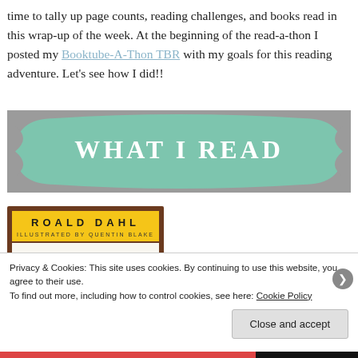time to tally up page counts, reading challenges, and books read in this wrap-up of the week. At the beginning of the read-a-thon I posted my Booktube-A-Thon TBR with my goals for this reading adventure. Let's see how I did!!
[Figure (illustration): Gray banner with a teal rounded badge/label shape containing the text 'WHAT I READ' in white serif font]
[Figure (photo): Book cover showing 'ROALD DAHL ILLUSTRATED BY QUENTIN BLAKE' at the top in yellow on brown/dark background, followed by the beginning of the title 'George's' in black italic script]
Privacy & Cookies: This site uses cookies. By continuing to use this website, you agree to their use.
To find out more, including how to control cookies, see here: Cookie Policy
Close and accept